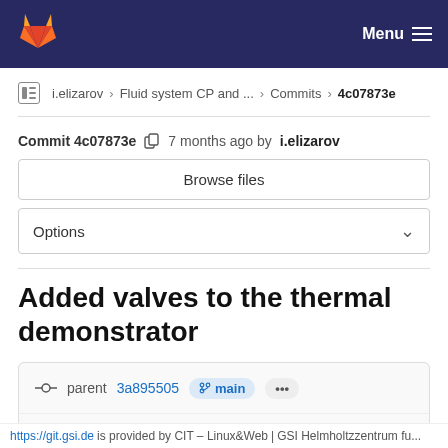GitLab — Menu
i.elizarov > Fluid system CP and ... > Commits > 4c07873e
Commit 4c07873e  7 months ago by i.elizarov
Browse files
Options
Added valves to the thermal demonstrator
parent 3a895505  main  ...
No related merge requests found
https://git.gsi.de is provided by CIT – Linux&Web | GSI Helmholtzzentrum fu...